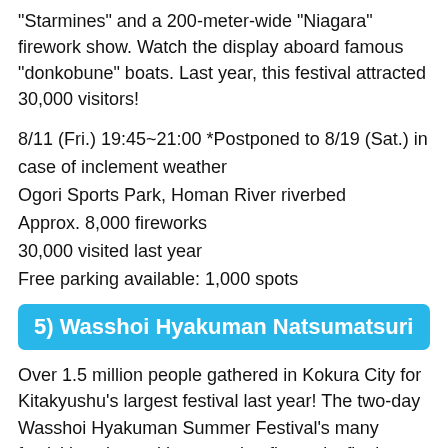“Starmines” and a 200-meter-wide “Niagara” firework show. Watch the display aboard famous “donkobune” boats. Last year, this festival attracted 30,000 visitors!
8/11 (Fri.) 19:45~21:00 *Postponed to 8/19 (Sat.) in case of inclement weather
Ogori Sports Park, Homan River riverbed
Approx. 8,000 fireworks
30,000 visited last year
Free parking available: 1,000 spots
5) Wasshoi Hyakuman Natsumatsuri
Over 1.5 million people gathered in Kokura City for Kitakyushu’s largest festival last year! The two-day Wasshoi Hyakuman Summer Festival’s many festivities close with a stunning fireworks finale over Kokura Castle, featuring 3,000 fireworks choreographed to music. Before the fireworks display, all nearby houses are asked to switch off their lights, to send a message about energy conservation, as well as to emphasize the fireworks